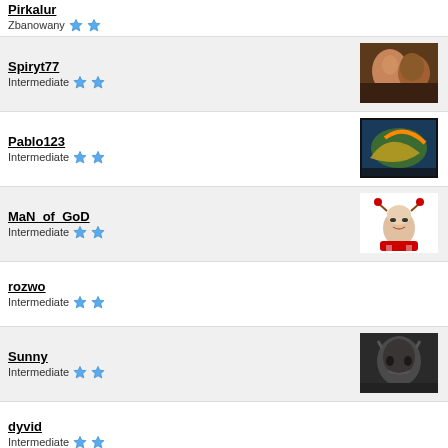Zbanowany ★★
Spiryt77
Intermediate ★★
Pablo123
Intermediate ★★
MaN_of_GoD
Intermediate ★★
rozwo
Intermediate ★★
Sunny
Intermediate ★★
dyvid
Intermediate ★★
Michoxx
Intermediate ★★